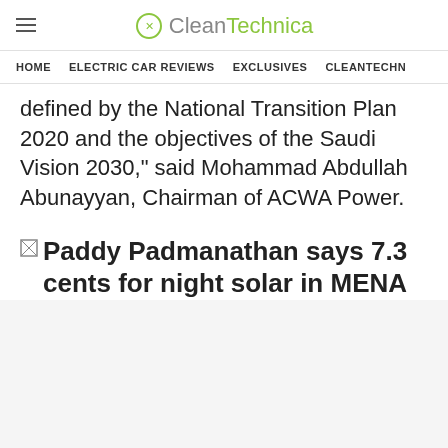CleanTechnica
HOME   ELECTRIC CAR REVIEWS   EXCLUSIVES   CLEANTECHN...
defined by the National Transition Plan 2020 and the objectives of the Saudi Vision 2030," said Mohammad Abdullah Abunayyan, Chairman of ACWA Power.
[Figure (photo): Broken image placeholder with alt text: Paddy Padmanathan says 7.3 cents for night solar in MENA]